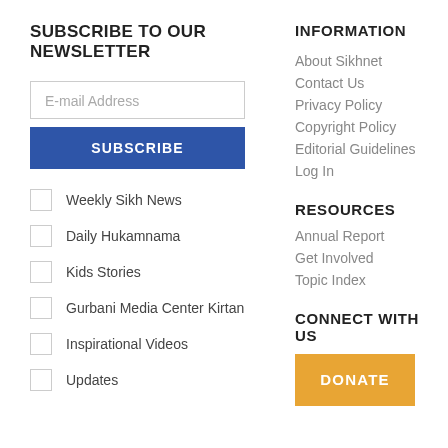SUBSCRIBE TO OUR NEWSLETTER
E-mail Address (input field)
SUBSCRIBE (button)
Weekly Sikh News
Daily Hukamnama
Kids Stories
Gurbani Media Center Kirtan
Inspirational Videos
Updates
INFORMATION
About Sikhnet
Contact Us
Privacy Policy
Copyright Policy
Editorial Guidelines
Log In
RESOURCES
Annual Report
Get Involved
Topic Index
CONNECT WITH US
DONATE (button)